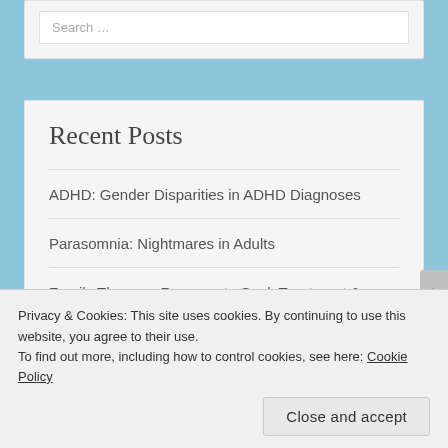Search …
Recent Posts
ADHD: Gender Disparities in ADHD Diagnoses
Parasomnia: Nightmares in Adults
Family Therapy: Reasons to Seek Treatment & What to Expect
Suicide: What is Suicide Grief?
Privacy & Cookies: This site uses cookies. By continuing to use this website, you agree to their use.
To find out more, including how to control cookies, see here: Cookie Policy
Close and accept